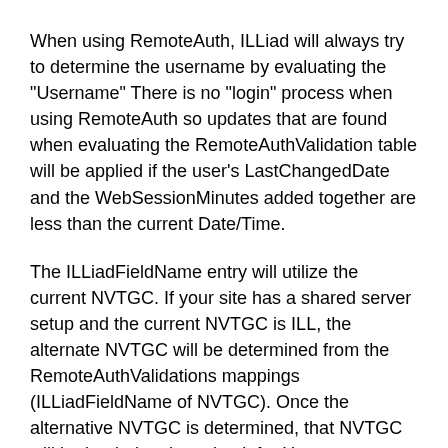When using RemoteAuth, ILLiad will always try to determine the username by evaluating the "Username" There is no "login" process when using RemoteAuth so updates that are found when evaluating the RemoteAuthValidation table will be applied if the user's LastChangedDate and the WebSessionMinutes added together are less than the current Date/Time.
The ILLiadFieldName entry will utilize the current NVTGC. If your site has a shared server setup and the current NVTGC is ILL, the alternate NVTGC will be determined from the RemoteAuthValidations mappings (ILLiadFieldName of NVTGC). Once the alternative NVTGC is determined, that NVTGC will be loaded to then check for Username.
AuthType of ILLiadExclusive: